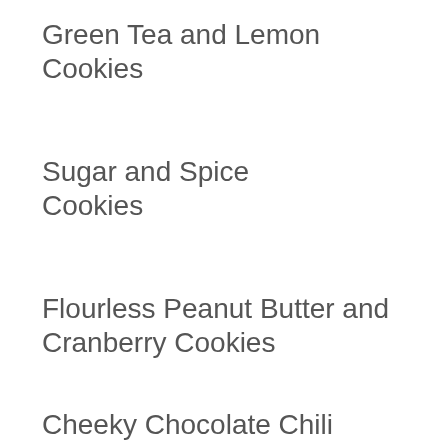Green Tea and Lemon Cookies
Sugar and Spice Cookies
Flourless Peanut Butter and Cranberry Cookies
Cheeky Chocolate Chili Brownies